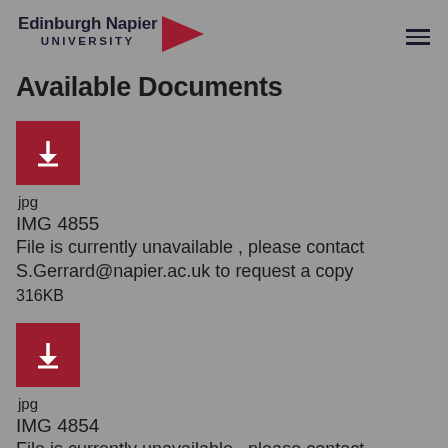[Figure (logo): Edinburgh Napier University logo with red arrow/triangle and text]
Available Documents
jpg
IMG 4855
File is currently unavailable , please contact S.Gerrard@napier.ac.uk to request a copy
316KB
jpg
IMG 4854
File is currently unavailable , please contact S.Gerrard@napier.ac.uk to request a copy